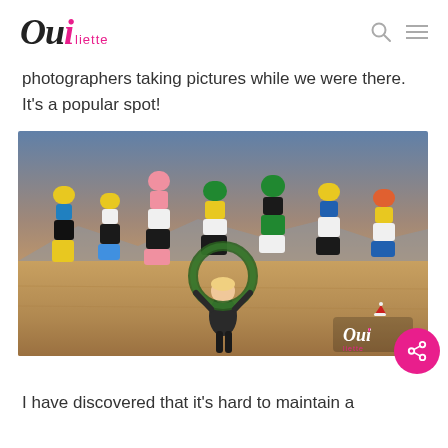Oui liette
photographers taking pictures while we were there. It's a popular spot!
[Figure (photo): Woman standing in desert holding a large wreath above her head, with colorful stacked rock sculptures (Seven Magic Mountains) in the background at sunset.]
I have discovered that it's hard to maintain a